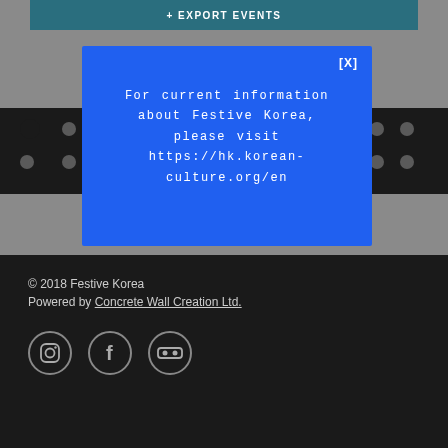+ EXPORT EVENTS
[X]
For current information about Festive Korea, please visit https://hk.korean-culture.org/en
© 2018 Festive Korea
Powered by Concrete Wall Creation Ltd.